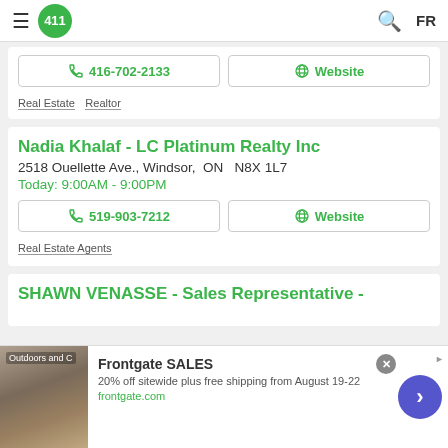411 – Navigation bar with logo, search, and FR
416-702-2133   Website
Real Estate  Realtor
Nadia Khalaf - LC Platinum Realty Inc
2518 Ouellette Ave., Windsor,  ON  N8X 1L7
Today: 9:00AM - 9:00PM
519-903-7212   Website
Real Estate Agents
SHAWN VENASSE - Sales Representative -
Frontgate SALES
20% off sitewide plus free shipping from August 19-22
frontgate.com